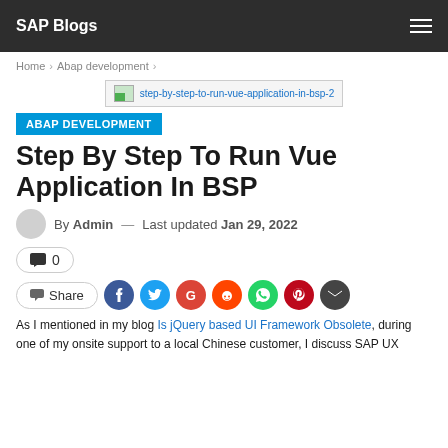SAP Blogs
Home > Abap development >
[Figure (screenshot): Hero image placeholder with alt text: step-by-step-to-run-vue-application-in-bsp-2]
ABAP DEVELOPMENT
Step By Step To Run Vue Application In BSP
By Admin — Last updated Jan 29, 2022
💬 0
Share (Facebook, Twitter, Google, Reddit, WhatsApp, Pinterest, Email)
As I mentioned in my blog Is jQuery based UI Framework Obsolete, during one of my onsite support to a local Chinese customer, I discuss SAP UX